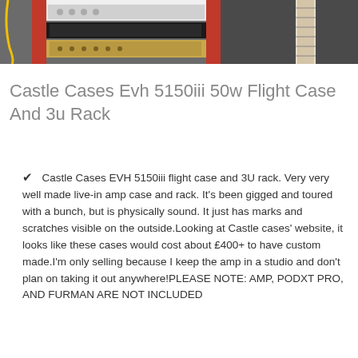[Figure (photo): Photo of a red equipment rack containing guitar amplifier heads and rack units, with a guitar visible on the right side.]
Castle Cases Evh 5150iii 50w Flight Case And 3u Rack
Castle Cases EVH 5150iii flight case and 3U rack. Very very well made live-in amp case and rack. It's been gigged and toured with a bunch, but is physically sound. It just has marks and scratches visible on the outside.Looking at Castle cases' website, it looks like these cases would cost about £400+ to have custom made.I'm only selling because I keep the amp in a studio and don't plan on taking it out anywhere!PLEASE NOTE: AMP, PODXT PRO, AND FURMAN ARE NOT INCLUDED